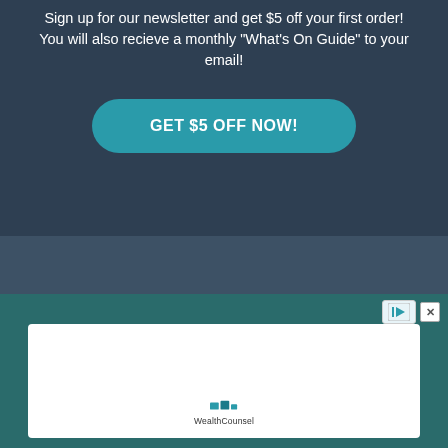Sign up for our newsletter and get $5 off your first order! You will also recieve a monthly "What's On Guide" to your email!
GET $5 OFF NOW!
[Figure (other): Advertisement banner with WealthCounsel logo on white box over teal background, with play and close icons in top right corner]